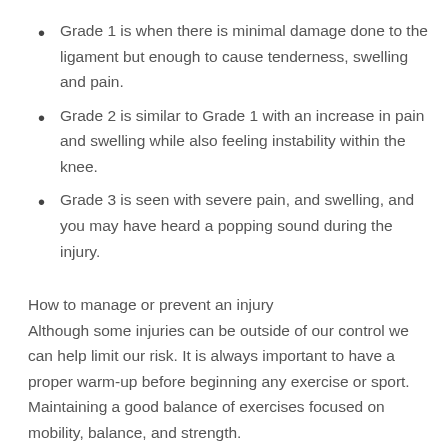Grade 1 is when there is minimal damage done to the ligament but enough to cause tenderness, swelling and pain.
Grade 2 is similar to Grade 1 with an increase in pain and swelling while also feeling instability within the knee.
Grade 3 is seen with severe pain, and swelling, and you may have heard a popping sound during the injury.
How to manage or prevent an injury
Although some injuries can be outside of our control we can help limit our risk. It is always important to have a proper warm-up before beginning any exercise or sport. Maintaining a good balance of exercises focused on mobility, balance, and strength.
If an injury does occur it’s important to seek the advice of a